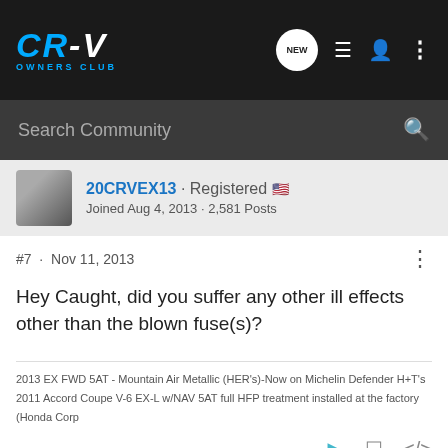CR-V OWNERS CLUB
Search Community
20CRVEX13 · Registered
Joined Aug 4, 2013 · 2,581 Posts
#7 · Nov 11, 2013
Hey Caught, did you suffer any other ill effects other than the blown fuse(s)?
2013 EX FWD 5AT - Mountain Air Metallic (HER's)-Now on Michelin Defender H+T's
2011 Accord Coupe V-6 EX-L w/NAV 5AT full HFP treatment installed at the factory (Honda Corp